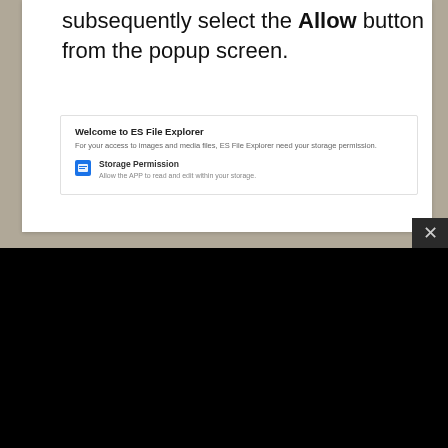subsequently select the Allow button from the popup screen.
[Figure (screenshot): ES File Explorer welcome dialog showing Storage Permission option with icon and description text.]
[Figure (screenshot): Black video player screen showing 'Source not found' error dialog with red exclamation icon.]